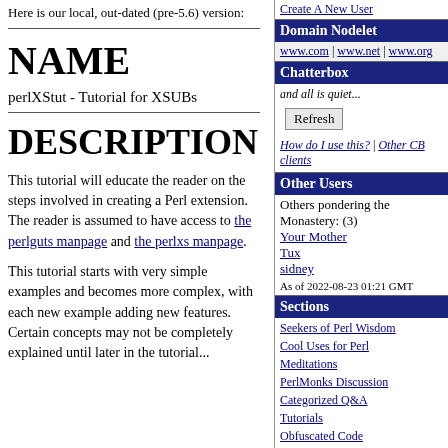Here is our local, out-dated (pre-5.6) version:
NAME
perlXStut - Tutorial for XSUBs
DESCRIPTION
This tutorial will educate the reader on the steps involved in creating a Perl extension. The reader is assumed to have access to the perlguts manpage and the perlxs manpage.
This tutorial starts with very simple examples and becomes more complex, with each new example adding new features. Certain concepts may not be completely explained until later in the tutorial...
Create A New User
Domain Nodelet
www.com | www.net | www.org
Chatterbox
and all is quiet...
Refresh
How do I use this? | Other CB clients
Other Users
Others pondering the Monastery: (3)
Your Mother
Tux
sidney
As of 2022-08-23 01:21 GMT
Sections
Seekers of Perl Wisdom
Cool Uses for Perl
Meditations
PerlMonks Discussion
Categorized Q&A
Tutorials
Obfuscated Code
Perl Poetry
Perl News
about
Information